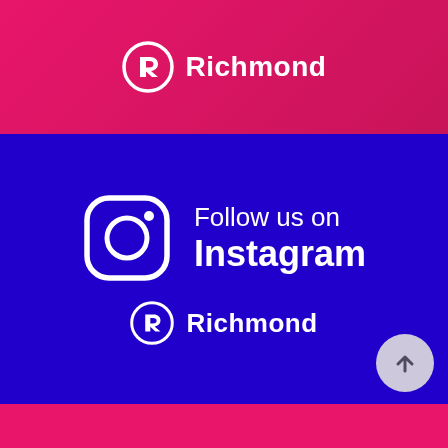[Figure (logo): Richmond logo on pink/magenta gradient background showing stylized R icon and Richmond text in white]
[Figure (infographic): Blue section with Instagram logo icon and text 'Follow us on Instagram' with Richmond logo below]
[Figure (other): Pink/red section at bottom of page]